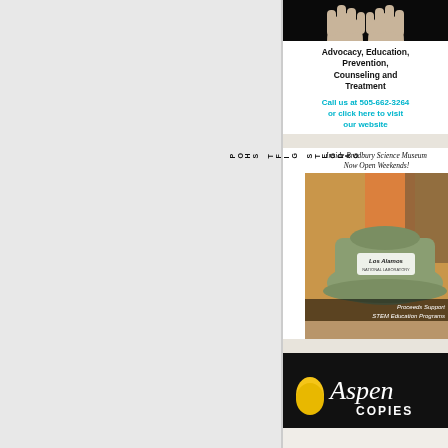[Figure (photo): Hands raised against dark background, top portion of advocacy ad]
Advocacy, Education, Prevention, Counseling and Treatment
Call us at 505-662-3264 or click here to visit our website
[Figure (photo): Gadgets Gift Shop ad - Inside Bradbury Science Museum, Now Open Weekends! Los Alamos National Laboratory cap displayed. Proceeds Support STEM Education Programs.]
[Figure (logo): Aspen Copies logo - yellow leaf icon with cursive Aspen text and COPIES below on black background]